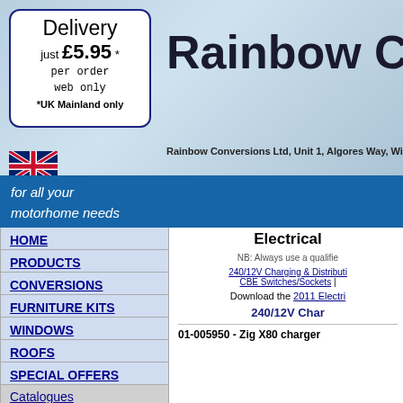[Figure (infographic): Header banner with light blue background showing Rainbow Conversions branding]
Delivery just £5.95 * per order web only *UK Mainland only
Rainbow C
Rainbow Conversions Ltd, Unit 1, Algores Way, Wis
[Figure (illustration): UK flag (Union Jack)]
for all your motorhome needs
HOME
PRODUCTS
CONVERSIONS
FURNITURE KITS
WINDOWS
ROOFS
SPECIAL OFFERS
Catalogues
Ordering
About us
Electrical
NB: Always use a qualifie
240/12V Charging & Distributi CBE Switches/Sockets |
Download the 2011 Electri
240/12V Char
01-005950 - Zig X80 charger